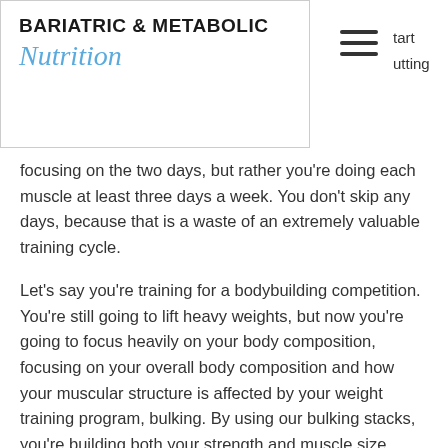BARIATRIC & METABOLIC Nutrition
focusing on the two days, but rather you're doing each muscle at least three days a week. You don't skip any days, because that is a waste of an extremely valuable training cycle.
Let's say you're training for a bodybuilding competition. You're still going to lift heavy weights, but now you're going to focus heavily on your body composition, focusing on your overall body composition and how your muscular structure is affected by your weight training program, bulking. By using our bulking stacks, you're building both your strength and muscle size, bulking and cutting same cycle.
So let's look at how it works on the scale.